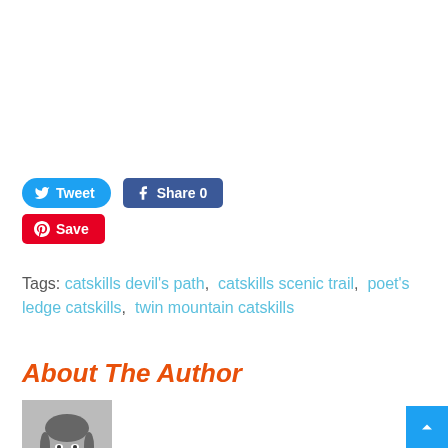[Figure (infographic): Social sharing buttons: Tweet (Twitter, blue rounded), Share 0 (Facebook, dark blue), Save (Pinterest, red)]
Tags: catskills devil's path, catskills scenic trail, poet's ledge catskills, twin mountain catskills
About The Author
[Figure (photo): Black and white photo of a young woman resting her chin on her hand, smiling slightly]